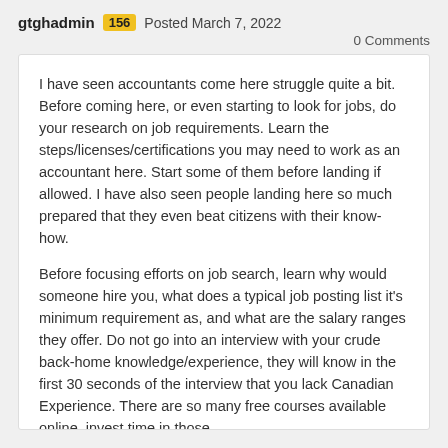gtghadmin 156 Posted March 7, 2022
0 Comments
I have seen accountants come here struggle quite a bit. Before coming here, or even starting to look for jobs, do your research on job requirements. Learn the steps/licenses/certifications you may need to work as an accountant here. Start some of them before landing if allowed. I have also seen people landing here so much prepared that they even beat citizens with their know-how.
Before focusing efforts on job search, learn why would someone hire you, what does a typical job posting list it's minimum requirement as, and what are the salary ranges they offer. Do not go into an interview with your crude back-home knowledge/experience, they will know in the first 30 seconds of the interview that you lack Canadian Experience. There are so many free courses available online, invest time in those.